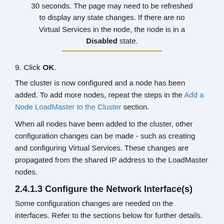30 seconds. The page may need to be refreshed to display any state changes. If there are no Virtual Services in the node, the node is in a Disabled state.
9. Click OK.
The cluster is now configured and a node has been added. To add more nodes, repeat the steps in the Add a Node LoadMaster to the Cluster section.
When all nodes have been added to the cluster, other configuration changes can be made - such as creating and configuring Virtual Services. These changes are propagated from the shared IP address to the LoadMaster nodes.
2.4.1.3 Configure the Network Interface(s)
Some configuration changes are needed on the interfaces. Refer to the sections below for further details.